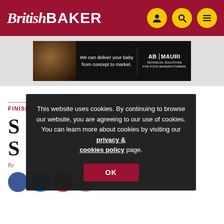British Baker
[Figure (screenshot): AB Mauri advertisement banner: 'We can deliver your baby from concept to market. AB MAURI Technical Solutions for Food Manufacturers']
FINISHED GOODS
S...
By...
This website uses cookies. By continuing to browse our website, you are agreeing to our use of cookies. You can learn more about cookies by visiting our privacy & cookies policy page.
OK